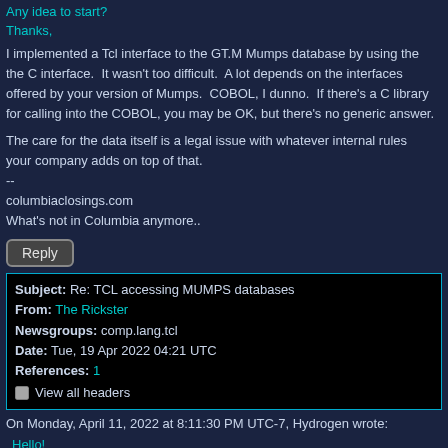Any idea to start?
Thanks,
I implemented a Tcl interface to the GT.M Mumps database by using the the C interface.  It wasn't too difficult.  A lot depends on the interfaces offered by your version of Mumps.  COBOL, I dunno.  If there's a C library for calling into the COBOL, you may be OK, but there's no generic answer.
The care for the data itself is a legal issue with whatever internal rules your company adds on top of that.
--
columbiaclosings.com
What's not in Columbia anymore..
Reply
| Field | Value |
| --- | --- |
| Subject: | Re: TCL accessing MUMPS databases |
| From: | The Rickster |
| Newsgroups: | comp.lang.tcl |
| Date: | Tue, 19 Apr 2022 04:21 UTC |
| References: | 1 |
|  | View all headers |
On Monday, April 11, 2022 at 8:11:30 PM UTC-7, Hydrogen wrote:
Hello!
I am trying to access legacy databases (MUMPS and COBOL) through TCL.
I hope to build a reading interface to explore and export it, and perhaps some component to expose it to a broader system.
Lots of sensitive medical data.